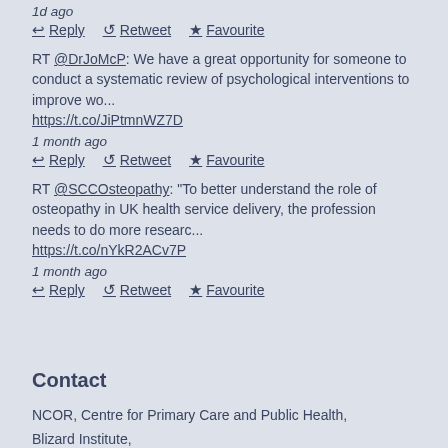1d ago
↩ Reply  ↺ Retweet  ★ Favourite
RT @DrJoMcP: We have a great opportunity for someone to conduct a systematic review of psychological interventions to improve wo... https://t.co/JiPtmnWZ7D
1 month ago
↩ Reply  ↺ Retweet  ★ Favourite
RT @SCCOsteopathy: "To better understand the role of osteopathy in UK health service delivery, the profession needs to do more researc... https://t.co/nYkR2ACv7P
1 month ago
↩ Reply  ↺ Retweet  ★ Favourite
Contact
NCOR, Centre for Primary Care and Public Health,
Blizard Institute,
Barts and The London School of Medicine and Dentistry,
Yvonne Carter Building,
58 Turner St,
London E1 2AB.
Tel: +44 (0)20 7882 6131.